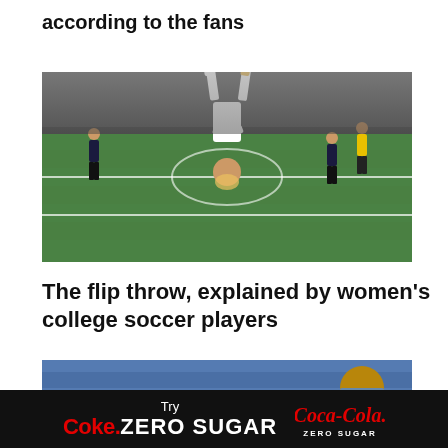according to the fans
[Figure (photo): Soccer player performing a flip throw-in on a grass field, mid-air upside down, with other players and referee visible in background]
The flip throw, explained by women's college soccer players
[Figure (photo): Partial view of a second sports-related image, partially cropped at bottom]
Try Coke. ZERO SUGAR  Coca-Cola ZERO SUGAR